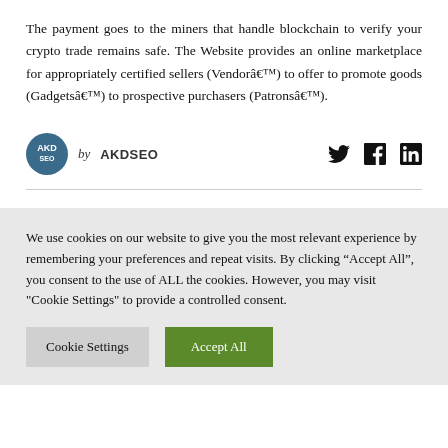The payment goes to the miners that handle blockchain to verify your crypto trade remains safe. The Website provides an online marketplace for appropriately certified sellers (Vendorâ€™) to offer to promote goods (Gadgetsâ€™) to prospective purchasers (Patronsâ€™).
by AKDSEO
We use cookies on our website to give you the most relevant experience by remembering your preferences and repeat visits. By clicking "Accept All", you consent to the use of ALL the cookies. However, you may visit "Cookie Settings" to provide a controlled consent.